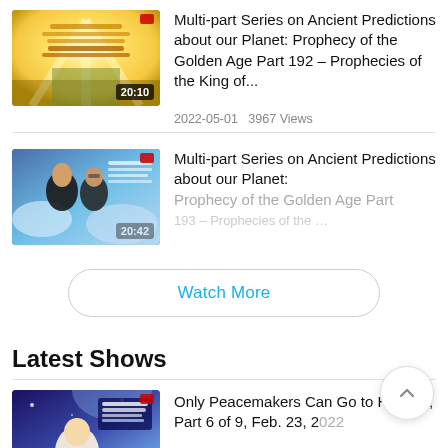[Figure (screenshot): Video thumbnail with golden glowing background and text about Prophecies of the King, duration 20:10]
Multi-part Series on Ancient Predictions about our Planet: Prophecy of the Golden Age Part 192 – Prophecies of the King of...
2022-05-01   3967 Views
[Figure (screenshot): Video thumbnail with two figures and text about prophecy, duration 20:42, partially visible]
Multi-part Series on Ancient Predictions about our Planet: Prophecy of the Golden Age Part
Watch More
Latest Shows
[Figure (screenshot): Video thumbnail for Only Peacemakers Can Go to Heaven Part 6 of 9, Feb 23, duration 29:57]
Only Peacemakers Can Go to Heaven, Part 6 of 9, Feb. 23, 2022